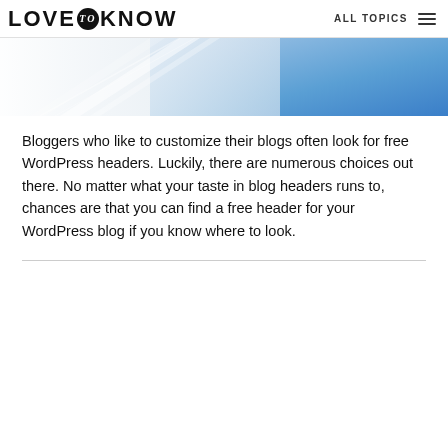LOVE to KNOW | ALL TOPICS
[Figure (illustration): Partial hero image showing a white and blue abstract design with diagonal light reflections and blue gradient, cropped at the top of the page.]
Bloggers who like to customize their blogs often look for free WordPress headers. Luckily, there are numerous choices out there. No matter what your taste in blog headers runs to, chances are that you can find a free header for your WordPress blog if you know where to look.